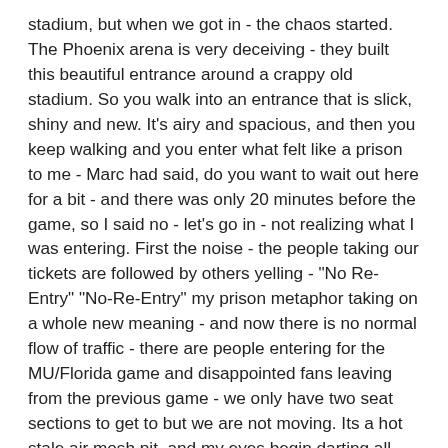stadium, but when we got in - the chaos started.  The Phoenix arena is very deceiving - they built this beautiful entrance around a crappy old stadium.  So you walk into an entrance that is slick, shiny and new.  It's airy and spacious, and then you keep walking and you enter what felt like a prison to me - Marc had said, do you want to wait out here for a bit - and there was only 20 minutes before the game, so I said no - let's go in - not realizing what I was entering.  First the noise - the people taking our tickets are followed by others yelling - "No Re-Entry" "No-Re-Entry" my prison metaphor taking on a whole new meaning - and now there is no normal flow of traffic - there are people entering for the MU/Florida game and disappointed fans leaving from the previous game - we only have two seat sections to get to but we are not moving.  Its a hot stale air mosh pit, and my eyes begin darting all over and the noise and commotion are all too much for this fragile nervous system.
When you live such a contained life for so long, this is such a shock to your system.  I'm near tears, and I know I can't leave, and I am just looking at everyone else, thinking "does this only bother me?"  Surrounded by people and feeling